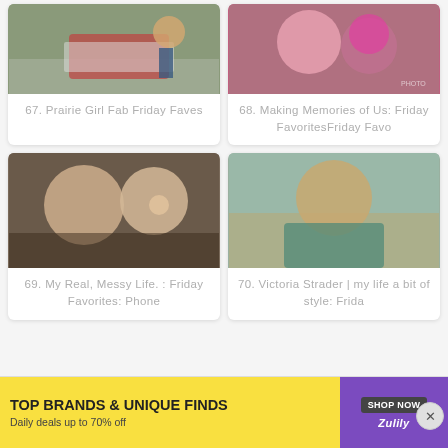[Figure (photo): Woman standing next to a vintage red and white vehicle in a snowy field]
67. Prairie Girl Fab Friday Faves
[Figure (photo): Two young children, one kissing the other on the cheek, dressed in pink and dark clothing]
68. Making Memories of Us: Friday FavoritesFriday Favo
[Figure (photo): Woman and young boy making funny faces at camera, selfie style]
69. My Real, Messy Life. : Friday Favorites: Phone
[Figure (photo): Teenage girl with long brown hair smiling, wearing teal blouse, outdoor setting]
70. Victoria Strader | my life a bit of style: Frida
[Figure (infographic): Advertisement banner: TOP BRANDS & UNIQUE FINDS - Daily deals up to 70% off - SHOP NOW - Zulily]